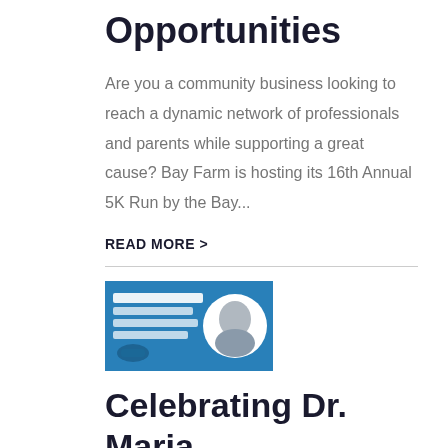Opportunities
Are you a community business looking to reach a dynamic network of professionals and parents while supporting a great cause? Bay Farm is hosting its 16th Annual 5K Run by the Bay...
READ MORE >
[Figure (photo): Thumbnail image with blue background showing a portrait photo of Dr. Maria Montessori with text 'Happy Birthday Dr. Maria Montessori' and a logo]
Celebrating Dr. Maria Montessori
To honor Dr. Maria Montessori's birthday